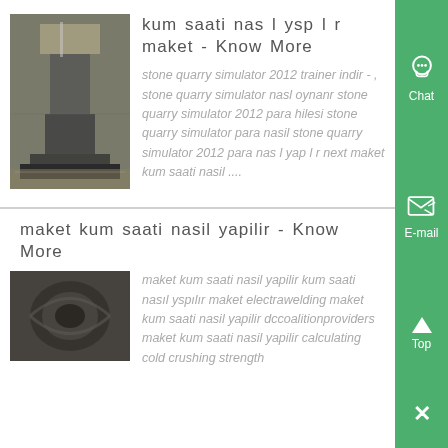[Figure (photo): Industrial machinery in a factory setting, large press or mill equipment]
kum saati nas l ysp l r maket - Know More
stone quarry simulator 2012 trainer indir - , stone quarry simulator nasl oynanr stone quarry simulator 2012 para hilesi stone quarry simulator para nasil stone quarry simulator 2012 para nas l yap l r next maket kum saati nasil ....
maket kum saati nasil yapilir - Know More
[Figure (photo): Industrial turbine or mechanical component, dark metallic machinery]
maket kum saati nasil yapilir kum saati nasıl yspılır maket electrawelding maket kum saati nasil yapilir dccoalitionproviders maket kum saati nasil yapilir calculating cold crushing strength